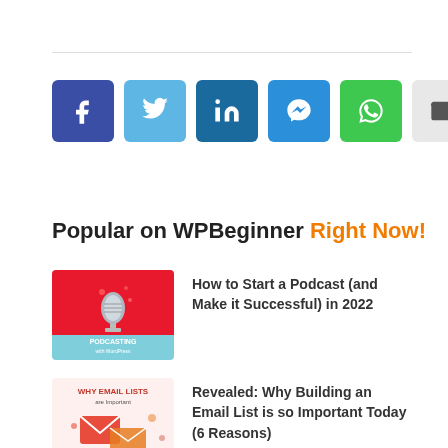[Figure (infographic): Social share buttons row: Facebook (dark blue), Twitter (light blue), LinkedIn (dark blue), Messenger (blue), WhatsApp (green), Email (light grey)]
Popular on WPBeginner Right Now!
[Figure (illustration): Podcast thumbnail: red background with a microphone icon and text 'PODCASTING with WordPress']
How to Start a Podcast (and Make it Successful) in 2022
[Figure (illustration): Email list thumbnail: light pink background with text 'WHY EMAIL LISTS are Important' and envelope/mail icons]
Revealed: Why Building an Email List is so Important Today (6 Reasons)